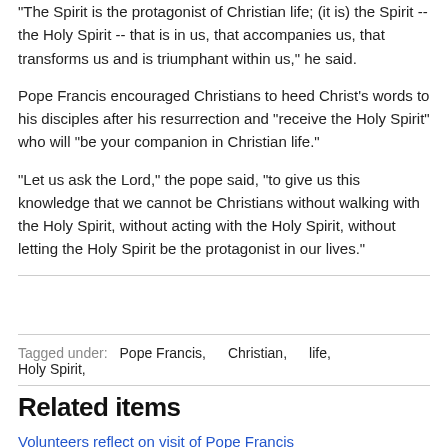"The Spirit is the protagonist of Christian life; (it is) the Spirit -- the Holy Spirit -- that is in us, that accompanies us, that transforms us and is triumphant within us," he said.
Pope Francis encouraged Christians to heed Christ's words to his disciples after his resurrection and "receive the Holy Spirit" who will "be your companion in Christian life."
"Let us ask the Lord," the pope said, "to give us this knowledge that we cannot be Christians without walking with the Holy Spirit, without acting with the Holy Spirit, without letting the Holy Spirit be the protagonist in our lives."
Tagged under: Pope Francis, Christian, life, Holy Spirit,
Related items
Volunteers reflect on visit of Pope Francis
Vatican says papal remarks on Dugina defended life, were not political